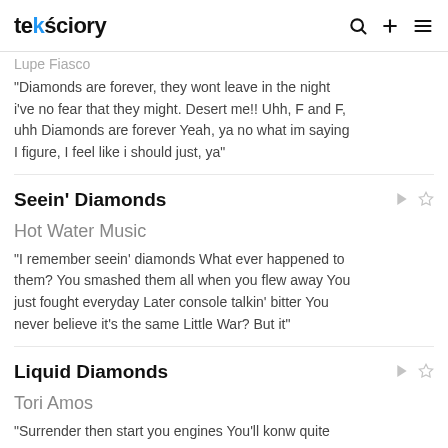teksciory
Lupe Fiasco
"Diamonds are forever, they wont leave in the night i've no fear that they might. Desert me!! Uhh, F and F, uhh Diamonds are forever Yeah, ya no what im saying I figure, I feel like i should just, ya"
Seein' Diamonds
Hot Water Music
"I remember seein' diamonds What ever happened to them? You smashed them all when you flew away You just fought everyday Later console talkin' bitter You never believe it's the same Little War? But it"
Liquid Diamonds
Tori Amos
"Surrender then start you engines You'll konw quite